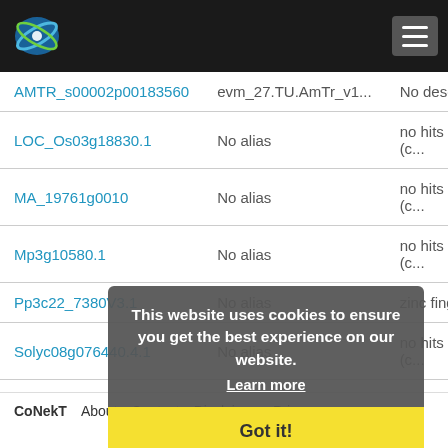CoNekT — navigation header with logo and menu
| Gene ID | Alias | Description |
| --- | --- | --- |
| AMTR_s00002p00183560 | evm_27.TU.AmTr_v1... | No descrip... |
| LOC_Os03g18830.1 | No alias | no hits & (c... |
| MA_19761g0010 | No alias | no hits & (c... |
| Mp3g10580.1 | No alias | no hits & (c... |
| Pp3c22_7380V3.1 | No alias | zinc finger... |
| Solyc08g076440.4.1 | No alias | no hits & (c... |
| Zm00001e319374_P001 | No alias | no hits & (c... |
| Zm00001e038373_P002 | No alias | no hits & (c... |
| AMTR_s00002p00183560 | evm_27.TU.AmTr_v1... | No descrip... |
| AT4G02220 | No alias | zinc finger... |
This website uses cookies to ensure you get the best experience on our website. Learn more Got it!
CoNekT  About  Contact  Disclaimer  Privacy policy